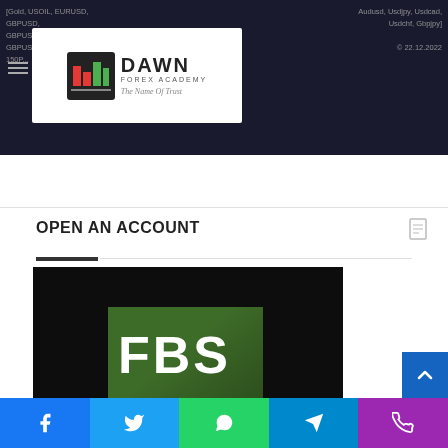[Gold, USOIL, EURUSD, GBPUSD, Audusd, Usdjpy, Usdcad, Usdchf, Gbpjpy]
[Figure (logo): Dawn Forex Academy logo with white background, green and red icon with bar chart, text DAWN FOREX ACADEMY, tagline The Name Of Trust]
OPEN AN ACCOUNT
[Figure (screenshot): FBS broker logo on dark/black background - green square with white FBS text and white underline bar]
Social share buttons: Facebook, Twitter, WhatsApp, Telegram, Phone